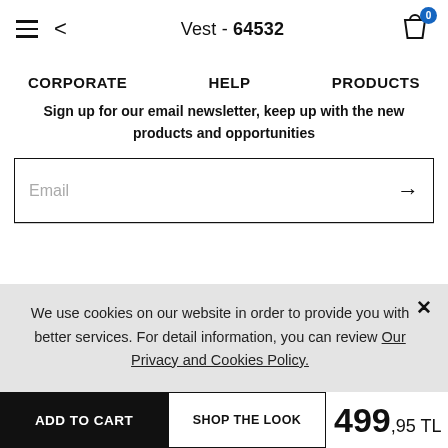Vest - 64532
CORPORATE   HELP   PRODUCTS
Sign up for our email newsletter, keep up with the new products and opportunities
Email
We use cookies on our website in order to provide you with better services. For detail information, you can review Our Privacy and Cookies Policy.
ADD TO CART   SHOP THE LOOK   499,95 TL